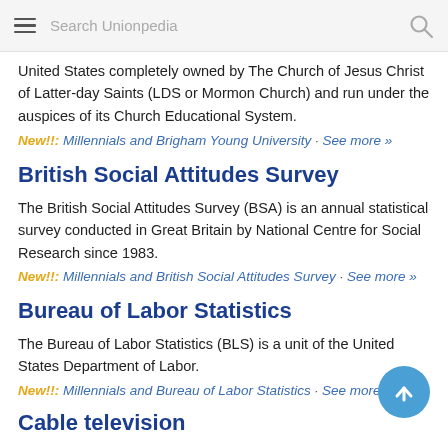Search Unionpedia
United States completely owned by The Church of Jesus Christ of Latter-day Saints (LDS or Mormon Church) and run under the auspices of its Church Educational System.
New!!: Millennials and Brigham Young University · See more »
British Social Attitudes Survey
The British Social Attitudes Survey (BSA) is an annual statistical survey conducted in Great Britain by National Centre for Social Research since 1983.
New!!: Millennials and British Social Attitudes Survey · See more »
Bureau of Labor Statistics
The Bureau of Labor Statistics (BLS) is a unit of the United States Department of Labor.
New!!: Millennials and Bureau of Labor Statistics · See more »
Cable television